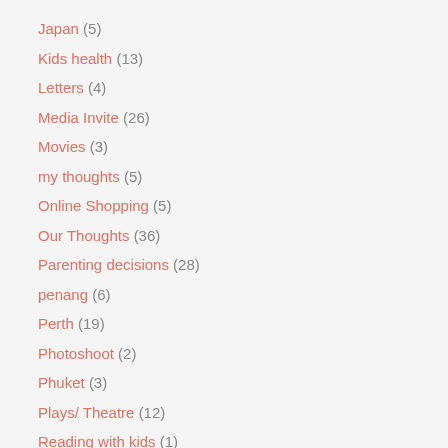Japan (5)
Kids health (13)
Letters (4)
Media Invite (26)
Movies (3)
my thoughts (5)
Online Shopping (5)
Our Thoughts (36)
Parenting decisions (28)
penang (6)
Perth (19)
Photoshoot (2)
Phuket (3)
Plays/ Theatre (12)
Reading with kids (1)
Reviews (49)